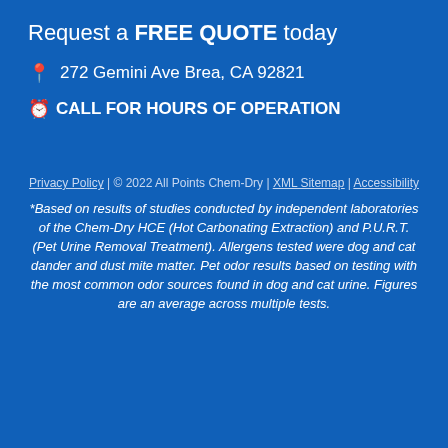Request a FREE QUOTE today
272 Gemini Ave Brea, CA 92821
CALL FOR HOURS OF OPERATION
Privacy Policy | © 2022 All Points Chem-Dry | XML Sitemap | Accessibility
*Based on results of studies conducted by independent laboratories of the Chem-Dry HCE (Hot Carbonating Extraction) and P.U.R.T. (Pet Urine Removal Treatment). Allergens tested were dog and cat dander and dust mite matter. Pet odor results based on testing with the most common odor sources found in dog and cat urine. Figures are an average across multiple tests.